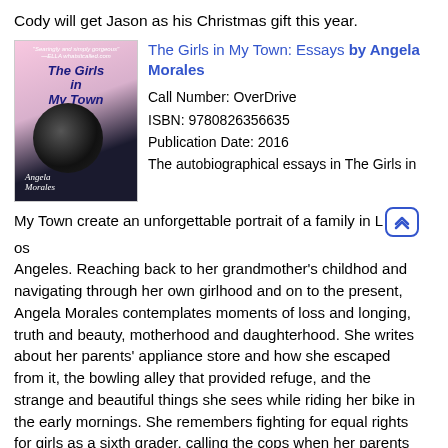Cody will get Jason as his Christmas gift this year.
[Figure (illustration): Book cover of 'The Girls in My Town' by Angela Morales, featuring stylized title text and a vinyl record disc on a dark background with pink/purple tones.]
The Girls in My Town: Essays by Angela Morales
Call Number: OverDrive
ISBN: 9780826356635
Publication Date: 2016
The autobiographical essays in The Girls in My Town create an unforgettable portrait of a family in Los Angeles. Reaching back to her grandmother's childhood and navigating through her own girlhood and on to the present, Angela Morales contemplates moments of loss and longing, truth and beauty, motherhood and daughterhood. She writes about her parents' appliance store and how she escaped from it, the bowling alley that provided refuge, and the strange and beautiful things she sees while riding her bike in the early mornings. She remembers fighting for equal rights for girls as a sixth grader, calling the cops when her parents fought, and listening with her mother to Helen Reddy's "I Am Woman," the soundtrack of her parents' divorce. Poignant, serious, and funny, Morales's book is both a coming-of-age